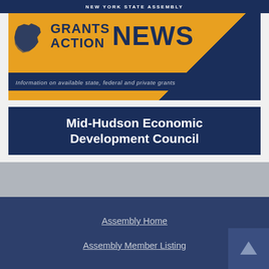NEW YORK STATE ASSEMBLY
[Figure (logo): Grants Action News banner with orange ribbon background, New York State silhouette logo, and subtitle 'Information on available state, federal and private grants']
Mid-Hudson Economic Development Council
Assembly Home
Assembly Member Listing